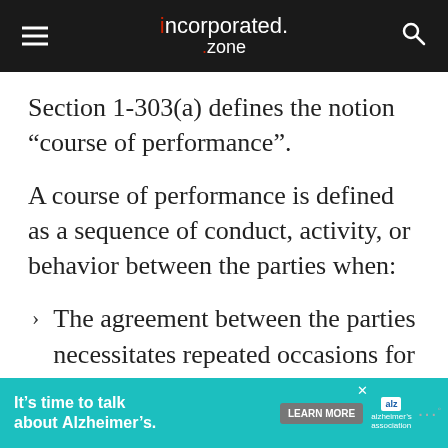incorporated.zone
Section 1-303(a) defines the notion “course of performance”.
A course of performance is defined as a sequence of conduct, activity, or behavior between the parties when:
The agreement between the parties necessitates repeated occasions for the parties to perform their
It’s time to talk about Alzheimer’s. LEARN MORE